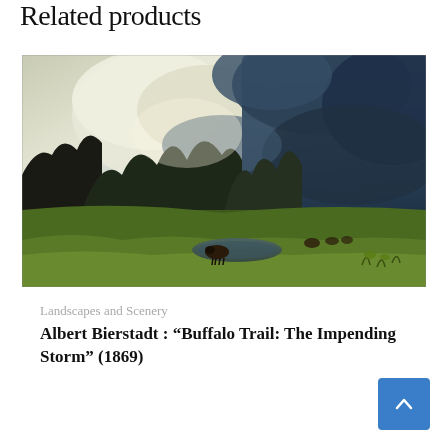Related products
[Figure (photo): Painting by Albert Bierstadt titled 'Buffalo Trail: The Impending Storm' (1869). A dramatic landscape with dark storm clouds overhead, a bright break in the clouds illuminating trees and a grassy plain, with bison grazing near a small stream in the foreground.]
Landscapes and Scenery
Albert Bierstadt : “Buffalo Trail: The Impending Storm” (1869)